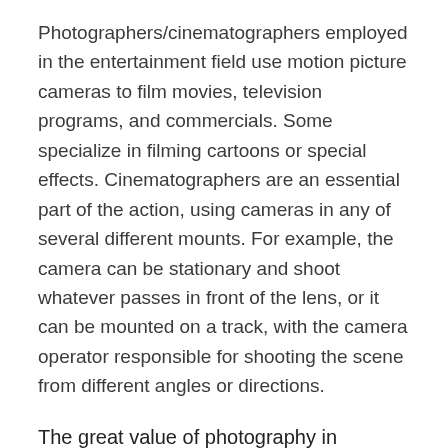Photographers/cinematographers employed in the entertainment field use motion picture cameras to film movies, television programs, and commercials. Some specialize in filming cartoons or special effects. Cinematographers are an essential part of the action, using cameras in any of several different mounts. For example, the camera can be stationary and shoot whatever passes in front of the lens, or it can be mounted on a track, with the camera operator responsible for shooting the scene from different angles or directions.
The great value of photography in magazines
The story is unfolded through their pictures. The work requires journalistic ability combined with technical skill. There are a great variety of subjects and locations and the timings may be irregular. They cover various subjects such as the life of prison inmates or drought